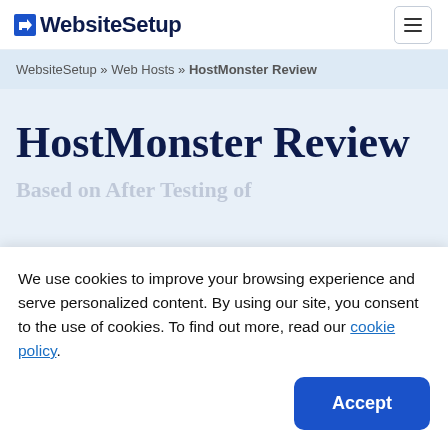WebsiteSetup
WebsiteSetup » Web Hosts » HostMonster Review
HostMonster Review
We use cookies to improve your browsing experience and serve personalized content. By using our site, you consent to the use of cookies. To find out more, read our cookie policy.